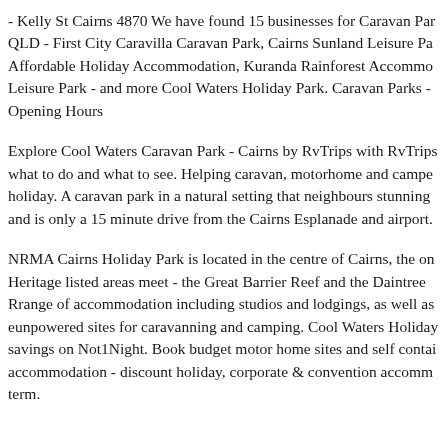- Kelly St Cairns 4870 We have found 15 businesses for Caravan Parks QLD - First City Caravilla Caravan Park, Cairns Sunland Leisure Park, Affordable Holiday Accommodation, Kuranda Rainforest Accommodation, Leisure Park - and more Cool Waters Holiday Park. Caravan Parks - Opening Hours
Explore Cool Waters Caravan Park - Cairns by RvTrips with RvTrips what to do and what to see. Helping caravan, motorhome and campers holiday. A caravan park in a natural setting that neighbours stunning and is only a 15 minute drive from the Cairns Esplanade and airport.
NRMA Cairns Holiday Park is located in the centre of Cairns, the only Heritage listed areas meet - the Great Barrier Reef and the Daintree Rainforest range of accommodation including studios and lodgings, as well as unpowered sites for caravanning and camping. Cool Waters Holiday savings on Not1Night. Book budget motor home sites and self contained accommodation - discount holiday, corporate & convention accommodation term.